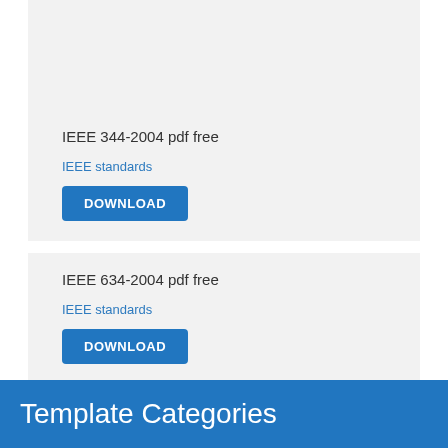IEEE 344-2004 pdf free
IEEE standards
DOWNLOAD
IEEE 634-2004 pdf free
IEEE standards
DOWNLOAD
Template Categories